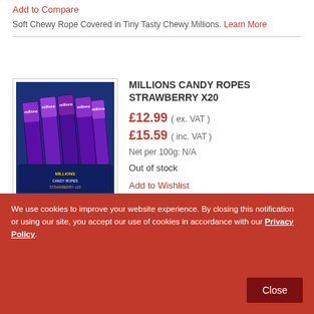Add to Compare
Soft Chewy Rope Covered in Tiny Tasty Chewy Millions. Learn More
[Figure (photo): Box of Millions Candy Ropes Strawberry x20, blue packaging with multiple candy rope bars visible]
MILLIONS CANDY ROPES STRAWBERRY X20
£12.99 ( ex. VAT )
£15.59 ( inc. VAT )
Net per 100g: N/A
Out of stock
Add to Wishlist
Add to Compare
We use cookies to improve your website experience. By closing this notification or using our site, you accept our use of cookies in accordance with our Privacy Policy.